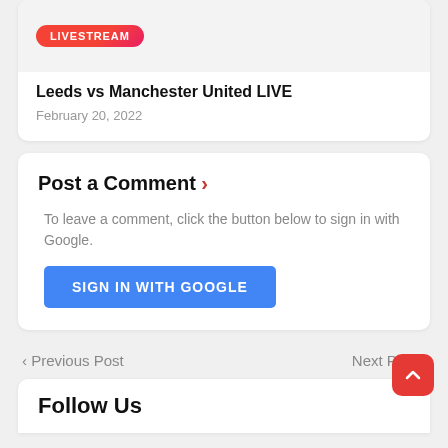[Figure (screenshot): Card with LIVESTREAM badge label on grey image background]
Leeds vs Manchester United LIVE
February 20, 2022
Post a Comment »
To leave a comment, click the button below to sign in with Google.
SIGN IN WITH GOOGLE
‹ Previous Post
Next Post ›
Follow Us